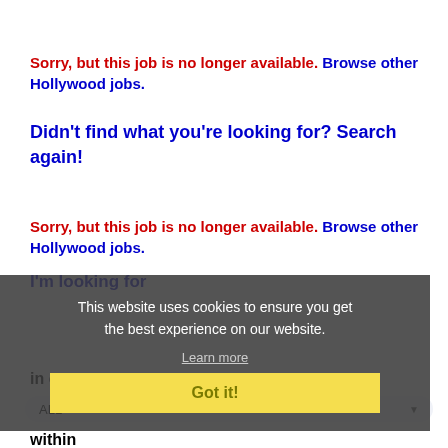Sorry, but this job is no longer available. Browse other Hollywood jobs.
Didn't find what you're looking for? Search again!
Sorry, but this job is no longer available. Browse other Hollywood jobs.
I'm looking for
This website uses cookies to ensure you get the best experience on our website.
Learn more
in category
ALL
Got it!
within
100 Miles of Hollywood